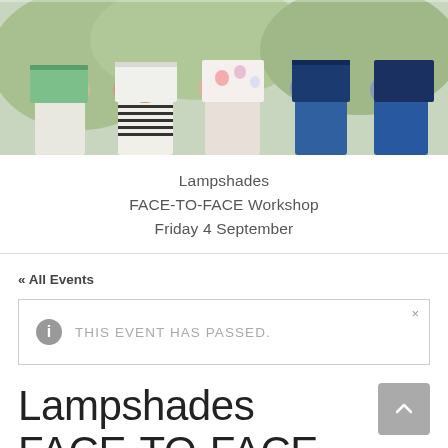[Figure (photo): Group of people holding lampshades they made at a workshop, outdoors in a garden setting.]
Lampshades FACE-TO-FACE Workshop Friday 4 September
« All Events
THIS EVENT HAS PASSED.
Lampshades FACE-TO-FACE